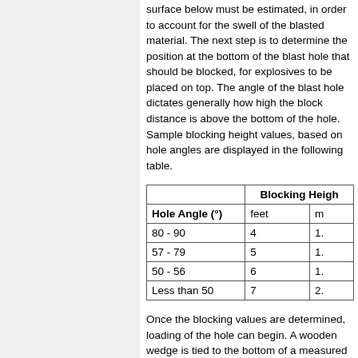surface below must be estimated, in order to account for the swell of the blasted material. The next step is to determine the position at the bottom of the blast hole that should be blocked, for explosives to be placed on top. The angle of the blast hole dictates generally how high the block distance is above the bottom of the hole. Sample blocking height values, based on hole angles are displayed in the following table.
| Hole Angle (°) | Blocking Height feet | Blocking Height m |
| --- | --- | --- |
| 80 - 90 | 4 | 1. |
| 57 - 79 | 5 | 1. |
| 50 - 56 | 6 | 1. |
| Less than 50 | 7 | 2. |
Once the blocking values are determined, loading of the hole can begin. A wooden wedge is tied to the bottom of a measured length of